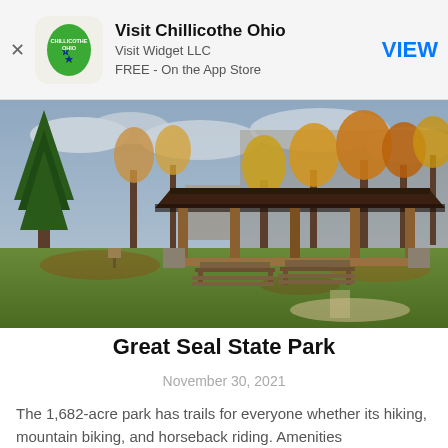[Figure (screenshot): App store banner for 'Visit Chillicothe Ohio' by Visit Widget LLC, FREE on the App Store, with VIEW button]
[Figure (photo): Outdoor photo of a park pavilion with a dark metal roof, picnic tables in front, surrounded by autumn trees and green grass — Great Seal State Park]
Great Seal State Park
November 30, 2021
The 1,682-acre park has trails for everyone whether its hiking, mountain biking, and horseback riding. Amenities